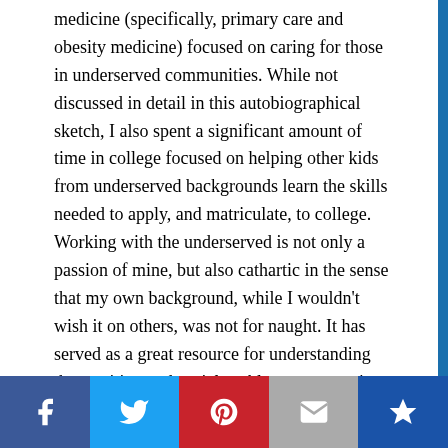medicine (specifically, primary care and obesity medicine) focused on caring for those in underserved communities. While not discussed in detail in this autobiographical sketch, I also spent a significant amount of time in college focused on helping other kids from underserved backgrounds learn the skills needed to apply, and matriculate, to college. Working with the underserved is not only a passion of mine, but also cathartic in the sense that my own background, while I wouldn't wish it on others, was not for naught. It has served as a great resource for understanding the nutrition and social problems rampant in underserved communities in the U.S. It has also helped me to be a better doctor.
Just knowing about medicine, nutrition, and the
[Figure (infographic): Social sharing bar with five buttons: Facebook (blue), Twitter (light blue), Pinterest (red), Email (grey), Crown/bookmark (dark blue)]